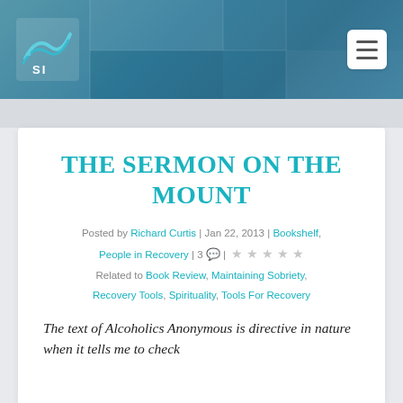RecoverySI logo and navigation menu
THE SERMON ON THE MOUNT
Posted by Richard Curtis | Jan 22, 2013 | Bookshelf, People in Recovery | 3 comments | Rating stars | Related to Book Review, Maintaining Sobriety, Recovery Tools, Spirituality, Tools For Recovery
The text of Alcoholics Anonymous is directive in nature when it tells me to check